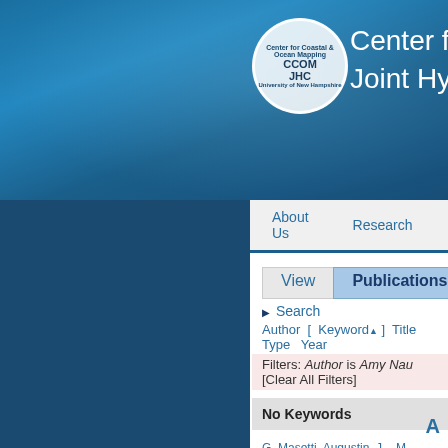[Figure (logo): CCOM JHC circular logo with ocean mapping imagery]
Center for Coastal & Ocean Mapping / Joint Hydrographic Center
About Us   Research   Education
View   Publications
▶ Search
Author [ Keyword▲ ] Title Type Year
Filters: Author is Amy Nau  [Clear All Filters]
A
No Keywords
G. Masetti, Augustin, J. - M., Malik, M. A., Poncelet, C., Lu...
Towards an Open-Source and Metadata-Rich Modu... KB)
G. Masetti, Augustin, J. - M., Lurton, X., and Calder, B. R.,...
Shallow Survey 2018. p. St. John's, NL, Canada, 2018.   M...